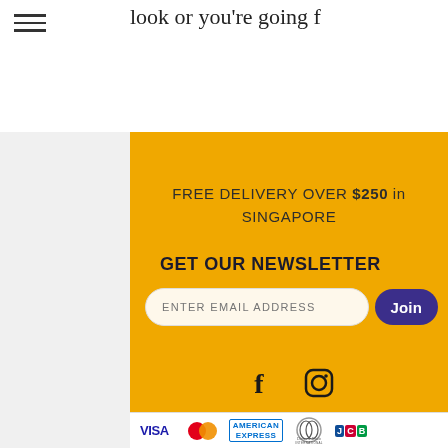look or you're going f
FREE DELIVERY OVER $250 in SINGAPORE
GET OUR NEWSLETTER
ENTER EMAIL ADDRESS | Join
[Figure (other): Facebook and Instagram social media icons]
© 2018 - 2020 by Vini Viventi Pte Ltd
[Figure (other): Payment method logos: VISA, MasterCard, American Express, Diners Club International, JCB]